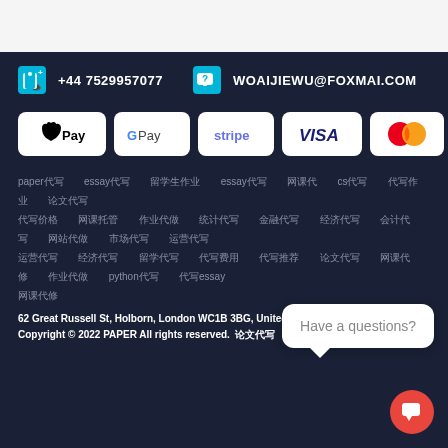+44 7529957077   WOAIJIEWU@FOXMAI.COM
[Figure (logo): Payment method logos: Apple Pay, Google Pay, Stripe, VISA, Mastercard]
paper代写  essay代写  留学生作业  essay代写  网课代  cs代写  代写作业  论文代写
代写价格  网课托管  作业代做  统计代写  金融代写  经济代写  会计代写  网站代做  市场代写  运营代写
运营代写  经济代写  留学代写  代写费用  代写推荐  论文代写  网课代修  作业代做  python代写  代写essay
网课代修
[Figure (other): Chat bubble with text: Have a questions?]
62 Great Russell St, Holborn, London WC1B 3BG, United Kingdom
Copyright © 2022 PAPER All rights reserved.  论文代写